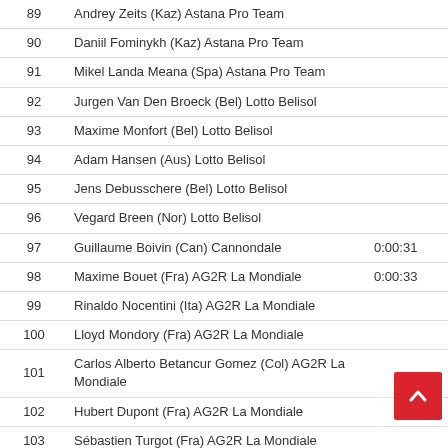| # | Name | Time |  |
| --- | --- | --- | --- |
| 89 | Andrey Zeits (Kaz) Astana Pro Team |  |  |
| 90 | Daniil Fominykh (Kaz) Astana Pro Team |  |  |
| 91 | Mikel Landa Meana (Spa) Astana Pro Team |  |  |
| 92 | Jurgen Van Den Broeck (Bel) Lotto Belisol |  |  |
| 93 | Maxime Monfort (Bel) Lotto Belisol |  |  |
| 94 | Adam Hansen (Aus) Lotto Belisol |  |  |
| 95 | Jens Debusschere (Bel) Lotto Belisol |  |  |
| 96 | Vegard Breen (Nor) Lotto Belisol |  |  |
| 97 | Guillaume Boivin (Can) Cannondale | 0:00:31 |  |
| 98 | Maxime Bouet (Fra) AG2R La Mondiale | 0:00:33 |  |
| 99 | Rinaldo Nocentini (Ita) AG2R La Mondiale |  |  |
| 100 | Lloyd Mondory (Fra) AG2R La Mondiale |  |  |
| 101 | Carlos Alberto Betancur Gomez (Col) AG2R La Mondiale |  |  |
| 102 | Hubert Dupont (Fra) AG2R La Mondiale |  |  |
| 103 | Sébastien Turgot (Fra) AG2R La Mondiale |  |  |
| 104 | Yauheni Hutarovich (Blr) AG2R La Mondiale |  |  |
| 105 | Damien Gaudin (Fra) AG2R La Mondiale |  |  |